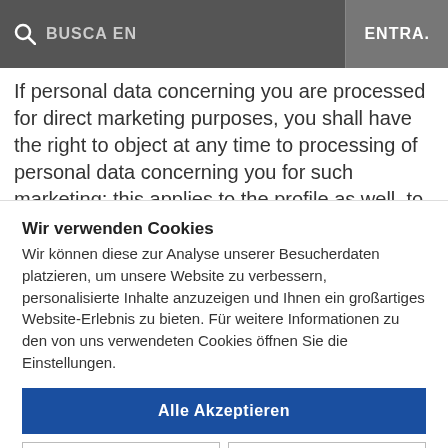BUSCA EN   ENTRA.
If personal data concerning you are processed for direct marketing purposes, you shall have the right to object at any time to processing of personal data concerning you for such marketing; this applies to the profile as well, to the extent that it is used for direct marketing.
Wir verwenden Cookies
Wir können diese zur Analyse unserer Besucherdaten platzieren, um unsere Website zu verbessern, personalisierte Inhalte anzuzeigen und Ihnen ein großartiges Website-Erlebnis zu bieten. Für weitere Informationen zu den von uns verwendeten Cookies öffnen Sie die Einstellungen.
Alle Akzeptieren
Verweigern
mehr Infos
Datenschutz   Impressum